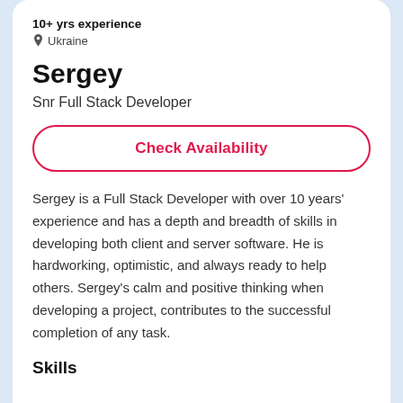10+ yrs experience
Ukraine
Sergey
Snr Full Stack Developer
Check Availability
Sergey is a Full Stack Developer with over 10 years' experience and has a depth and breadth of skills in developing both client and server software. He is hardworking, optimistic, and always ready to help others. Sergey's calm and positive thinking when developing a project, contributes to the successful completion of any task.
Skills